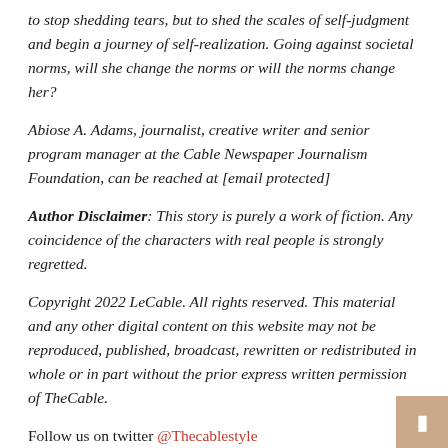to stop shedding tears, but to shed the scales of self-judgment and begin a journey of self-realization. Going against societal norms, will she change the norms or will the norms change her?
Abiose A. Adams, journalist, creative writer and senior program manager at the Cable Newspaper Journalism Foundation, can be reached at [email protected]
Author Disclaimer: This story is purely a work of fiction. Any coincidence of the characters with real people is strongly regretted.
Copyright 2022 LeCable. All rights reserved. This material and any other digital content on this website may not be reproduced, published, broadcast, rewritten or redistributed in whole or in part without the prior express written permission of TheCable.
Follow us on twitter @Thecablestyle
Related Posts:
The 350-year-old civil war circle found in the south of the island